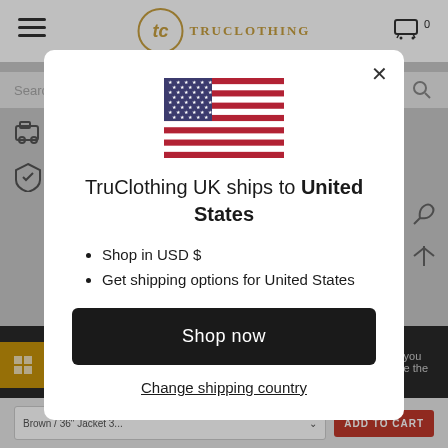[Figure (screenshot): Background of a TruClothing UK e-commerce website with header, search bar, icons, dark banner, and bottom bar with product selection and Add to Cart button, dimmed by modal overlay.]
[Figure (illustration): United States flag displayed centered in the modal dialog.]
TruClothing UK ships to United States
Shop in USD $
Get shipping options for United States
Shop now
Change shipping country